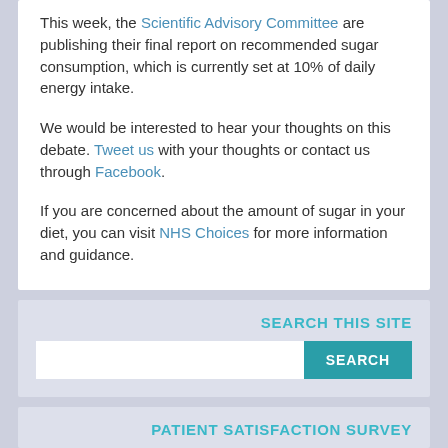This week, the Scientific Advisory Committee are publishing their final report on recommended sugar consumption, which is currently set at 10% of daily energy intake.

We would be interested to hear your thoughts on this debate. Tweet us with your thoughts or contact us through Facebook.

If you are concerned about the amount of sugar in your diet, you can visit NHS Choices for more information and guidance.
SEARCH THIS SITE
PATIENT SATISFACTION SURVEY